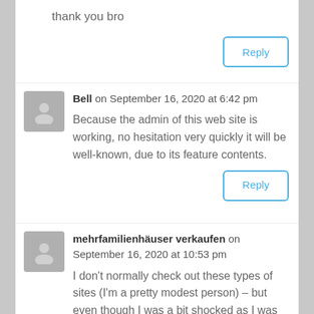thank you bro
Reply
Bell on September 16, 2020 at 6:42 pm
Because the admin of this web site is working, no hesitation very quickly it will be well-known, due to its feature contents.
Reply
mehrfamilienhäuser verkaufen on September 16, 2020 at 10:53 pm
I don't normally check out these types of sites (I'm a pretty modest person) – but even though I was a bit shocked as I was